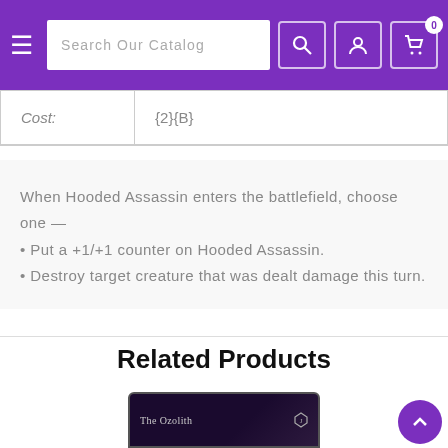Search Our Catalog
| Cost: | {2}{B} |
| --- | --- |
When Hooded Assassin enters the battlefield, choose one —
• Put a +1/+1 counter on Hooded Assassin.
• Destroy target creature that was dealt damage this turn.
Related Products
[Figure (photo): Trading card image for The Ozolith]